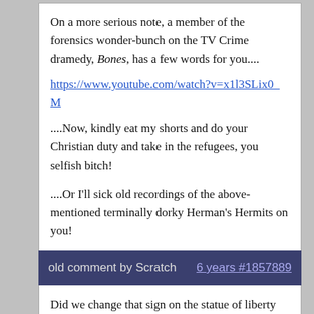On a more serious note, a member of the forensics wonder-bunch on the TV Crime dramedy, Bones, has a few words for you.... https://www.youtube.com/watch?v=x1l3SLix0_M ....Now, kindly eat my shorts and do your Christian duty and take in the refugees, you selfish bitch!

....Or I'll sick old recordings of the above-mentioned terminally dorky Herman's Hermits on you!

(They're an acquired taste. Kinda goofy, certainly 1960's bubblegum. Some find them annoying. Peter Noone sounded like a cute little gnome who swallowed helium.)
old comment by Scratch    6 years #1857889
Did we change that sign on the statue of liberty from "Give